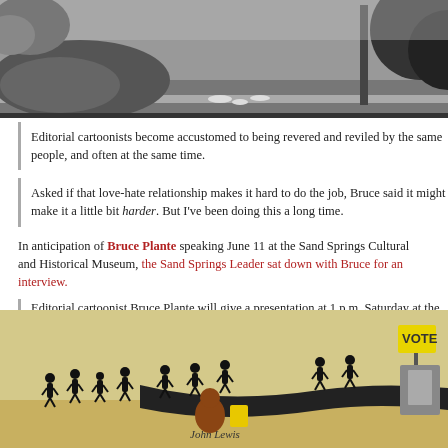[Figure (illustration): Top portion of an editorial cartoon in grayscale showing rocks, bones on a road, and other elements.]
Editorial cartoonists become accustomed to being revered and reviled by the same people, and often at the same time.
Asked if that love-hate relationship makes it hard to do the job, Bruce said it might make it a little bit harder. But I've been doing this a long time.
In anticipation of Bruce Plante speaking June 11 at the Sand Springs Cultural and Historical Museum, the Sand Springs Leader sat down with Bruce for an interview.
Editorial cartoonist Bruce Plante will give a presentation at 1 p.m. Saturday at the Sand Springs Cultural and Historical Museum, 9 W. Broadway Ave.
The free presentation is in conjunction with the museum's latest exhibition, "Pen and Purpose: Editorial Cartoons," which runs through June 20.
[Figure (illustration): Editorial cartoon showing silhouetted figures marching across a landscape with a VOTE sign, labeled John Lewis.]